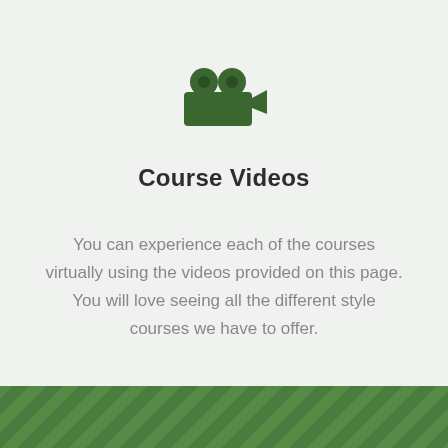[Figure (illustration): Green video camera icon with two circular reels on top and a rectangular body with a small side piece pointing right]
Course Videos
You can experience each of the courses virtually using the videos provided on this page. You will love seeing all the different style courses we have to offer.